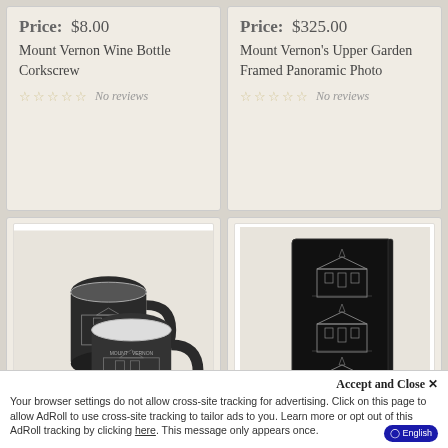Price: $8.00
Mount Vernon Wine Bottle Corkscrew
No reviews
Price: $325.00
Mount Vernon's Upper Garden Framed Panoramic Photo
No reviews
[Figure (photo): Two dark matte mugs with Mount Vernon architectural illustration]
[Figure (photo): Black hardcover notebook/journal with Mount Vernon architectural illustration repeated three times on cover]
Accept and Close ×
Your browser settings do not allow cross-site tracking for advertising. Click on this page to allow AdRoll to use cross-site tracking to tailor ads to you. Learn more or opt out of this AdRoll tracking by clicking here. This message only appears once.